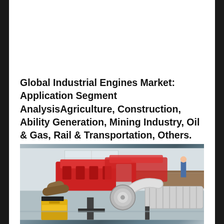Global Industrial Engines Market: Application Segment AnalysisAgriculture, Construction, Ability Generation, Mining Industry, Oil & Gas, Rail & Transportation, Others.
[Figure (photo): Photograph of industrial engines in a workshop or garage setting, showing red and silver engines with turbochargers, pipes, and intercoolers on a stand, with toolboxes and workbenches visible in the background.]